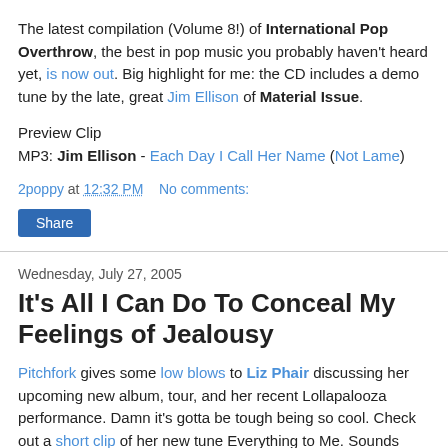The latest compilation (Volume 8!) of International Pop Overthrow, the best in pop music you probably haven't heard yet, is now out. Big highlight for me: the CD includes a demo tune by the late, great Jim Ellison of Material Issue.
Preview Clip
MP3: Jim Ellison - Each Day I Call Her Name (Not Lame)
2poppy at 12:32 PM    No comments:
Share
Wednesday, July 27, 2005
It's All I Can Do To Conceal My Feelings of Jealousy
Pitchfork gives some low blows to Liz Phair discussing her upcoming new album, tour, and her recent Lollapalooza performance. Damn it's gotta be tough being so cool. Check out a short clip of her new tune Everything to Me. Sounds